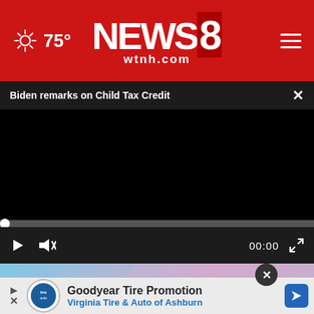75° NEWS 8 wtnh.com
Biden remarks on Child Tax Credit
[Figure (screenshot): Black video player area showing paused/unloaded video]
00:00
[Figure (screenshot): Advertisement: Goodyear Tire Promotion - Virginia Tire & Auto of Ashburn, with background image of a person]